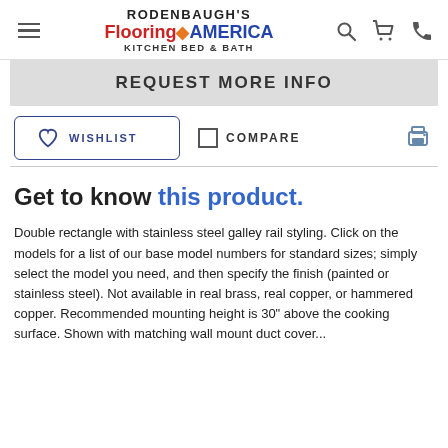RODENBAUGH'S FlooringAMERICA KITCHEN BED & BATH
REQUEST MORE INFO
WISHLIST   COMPARE
Get to know this product.
Double rectangle with stainless steel galley rail styling. Click on the models for a list of our base model numbers for standard sizes; simply select the model you need, and then specify the finish (painted or stainless steel). Not available in real brass, real copper, or hammered copper. Recommended mounting height is 30" above the cooking surface. Shown with matching wall mount duct cover...